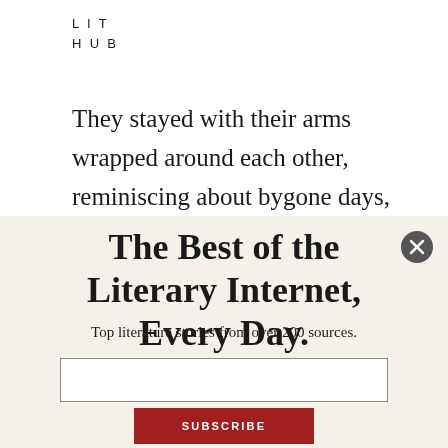LIT
HUB
They stayed with their arms wrapped around each other, reminiscing about bygone days, touching and kissing, their breaths urgent. As they tangled, the splashes from the bathroom were like the warm embrace of ocean
The Best of the Literary Internet, Every Day.
Top literature stories from over 200 sources.
SUBSCRIBE